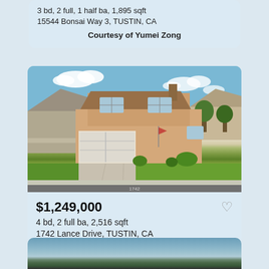3 bd, 2 full, 1 half ba, 1,895 sqft
15544 Bonsai Way 3, TUSTIN, CA
Courtesy of Yumei Zong
[Figure (photo): Two-story single-family home with beige/salmon exterior, two-car garage, concrete driveway, green lawn, blue sky with clouds. Address 1742 visible on curb.]
$1,249,000
4 bd, 2 full ba, 2,516 sqft
1742 Lance Drive, TUSTIN, CA
Courtesy of Casey Tevault
[Figure (photo): Partial view of another property listing, showing rooftop and trees against a sky background.]